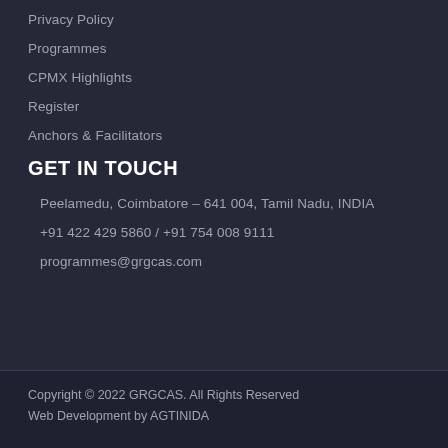Privacy Policy
Programmes
CPMX Highlights
Register
Anchors & Facilitators
GET IN TOUCH
Peelamedu, Coimbatore – 641 004, Tamil Nadu, INDIA
+91 422 429 5860 / +91 754 008 9111
programmes@grgcas.com
Copyright © 2022 GRGCAS. All Rights Reserved
Web Development by AGTINIDA